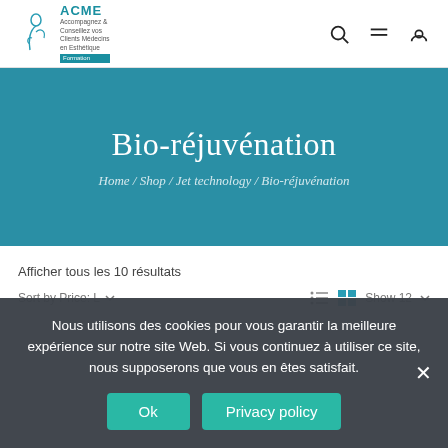[Figure (logo): ACME logo with teal icon and text]
ACME — navigation header with search, menu, and account icons
Bio-réjuvénation
Home / Shop / Jet technology / Bio-réjuvénation
Afficher tous les 10 résultats
Sort by Price: L…
Nous utilisons des cookies pour vous garantir la meilleure expérience sur notre site Web. Si vous continuez à utiliser ce site, nous supposerons que vous en êtes satisfait.
Ok
Privacy policy